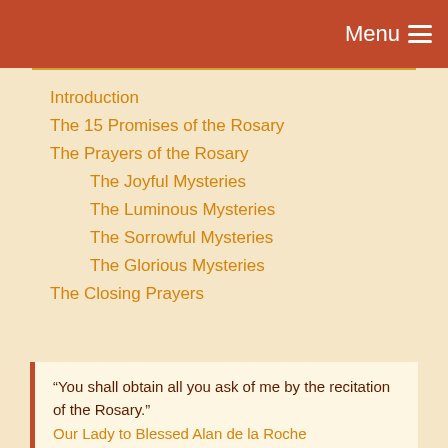Menu ≡
Introduction
The 15 Promises of the Rosary
The Prayers of the Rosary
The Joyful Mysteries
The Luminous Mysteries
The Sorrowful Mysteries
The Glorious Mysteries
The Closing Prayers
“You shall obtain all you ask of me by the recitation of the Rosary.” Our Lady to Blessed Alan de la Roche
“When the Holy Rosary is said well, it